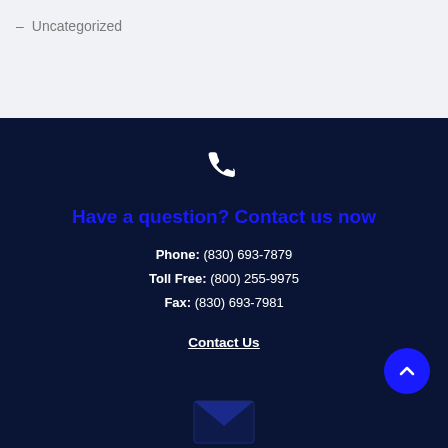– Uncategorized
Have a question? Contact us now
Phone: (830) 693-7879
Toll Free: (800) 255-9975
Fax: (830) 693-7981
Contact Us